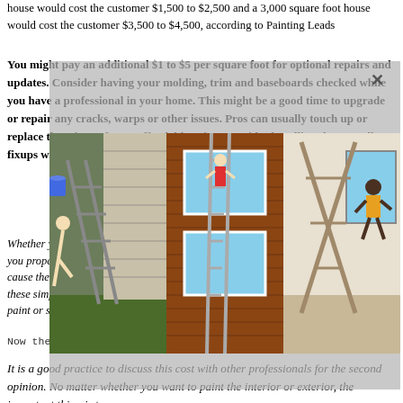house would cost the customer $1,500 to $2,500 and a 3,000 square foot house would cost the customer $3,500 to $4,500, according to Painting Leads
You might pay an additional $1 to $5 per square foot for optional repairs and updates. Consider having your molding, trim and baseboards checked while you have a professional in your home. This might be a good time to upgrade or repair any cracks, warps or other issues. Pros can usually touch up or replace these items for an affordable price. Consider bundling these small fixups with your painting project.
[Figure (photo): Three photos showing people on ladders doing exterior house painting work, arranged side by side]
Whether you decide to do the painting yourself or have a professional do it, make sure you properly prepare the surface. Not doing so, along with skimping and labor, will cause the paint to peel quickly and end up costing you more money in the long run. Follow these simple steps for painting the exterior. Keep reading to learn how to remove old paint or siding.
Now the next step is to determine the cost of the color.
It is a good practice to discuss this cost with other professionals for the second opinion. No matter whether you want to paint the interior or exterior, the important thing is to